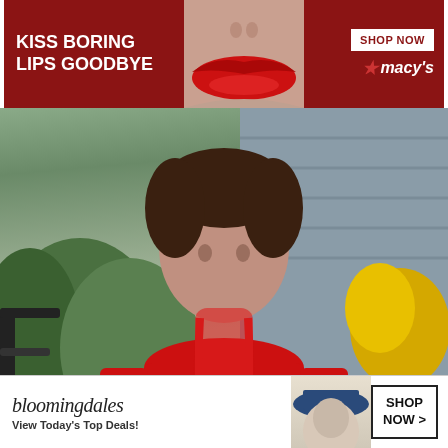[Figure (screenshot): Macy's advertisement banner with dark red background, text 'KISS BORING LIPS GOODBYE', image of lips with red lipstick, 'SHOP NOW' button, and Macy's star logo]
[Figure (photo): Young boy wearing a red Superman 'Ready for Action' t-shirt with red backpack, black shorts, and dark sneakers, standing outside in front of a house with plants and stone pavers]
[Figure (screenshot): Chalkboard sign overlay in bottom right reading 'First day of Kindergarten' with an apple graphic]
[Figure (screenshot): Bloomingdales advertisement banner at bottom with logo, 'View Today's Top Deals!' text, model with hat, and 'SHOP NOW >' button]